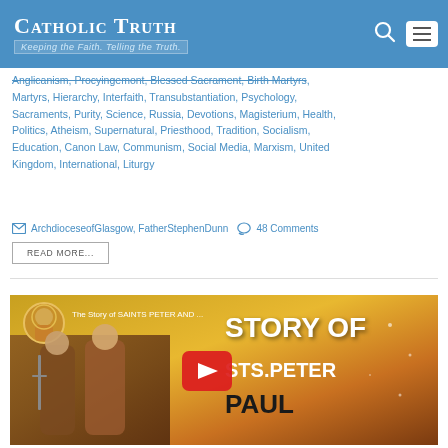Catholic Truth — Keeping the Faith. Telling the Truth.
Anglicanism, Procyingemont, Blessed Sacrament, Faith, Martyrs, Hierarchy, Interfaith, Transubstantiation, Psychology, Sacraments, Purity, Science, Russia, Devotions, Magisterium, Health, Politics, Atheism, Supernatural, Priesthood, Tradition, Socialism, Education, Canon Law, Communism, Social Media, Marxism, United Kingdom, International, Liturgy
ArchdioceseofGlasgow, FatherStephenDunn   48 Comments
READ MORE...
[Figure (screenshot): YouTube video thumbnail showing Saints Peter and Paul with title 'Story of Sts. Peter Paul' and a play button]